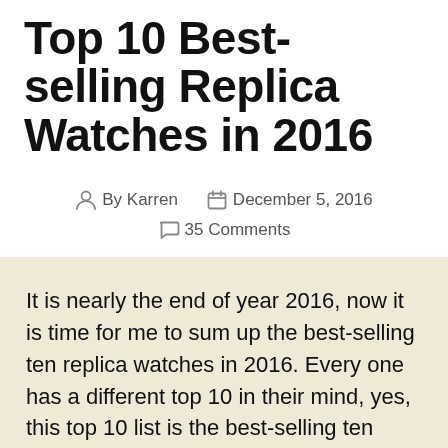Top 10 Best-selling Replica Watches in 2016
By Karren   December 5, 2016   35 Comments
It is nearly the end of year 2016, now it is time for me to sum up the best-selling ten replica watches in 2016. Every one has a different top 10 in their mind, yes, this top 10 list is the best-selling ten watches on my blog at wristwatchspot.com. Here the list includes popular Rolex and Panerai, as well as vintage Daytona Paul Newman. The common feature of these replicas is that they are all made by famous watch factories in our market, there are five Rolex models in this top 10 list